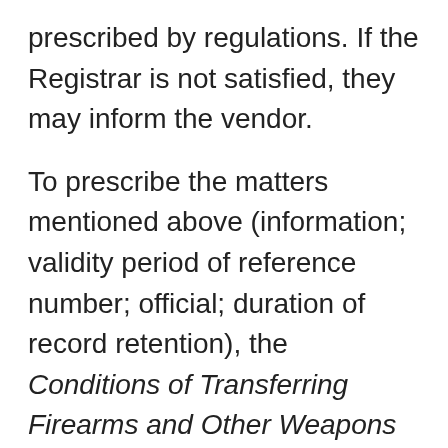prescribed by regulations. If the Registrar is not satisfied, they may inform the vendor.
To prescribe the matters mentioned above (information; validity period of reference number; official; duration of record retention), the Conditions of Transferring Firearms and Other Weapons Regulations are amended through this regulatory proposal. These Regulations specify the information that must be provided to the CFO upon transfer of a restricted or prohibited firearm to an individual or a business; and the information to be